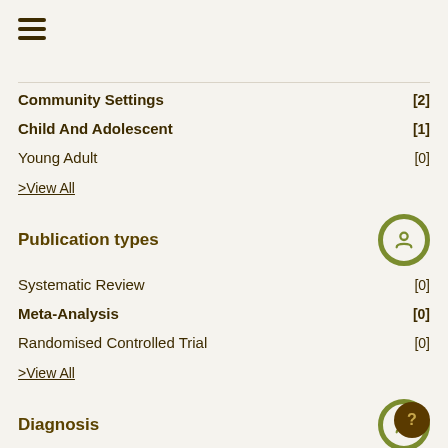Community Settings [2]
Child And Adolescent [1]
Young Adult [0]
>View All
Publication types
Systematic Review [0]
Meta-Analysis [0]
Randomised Controlled Trial [0]
>View All
Diagnosis
Risk Facto...